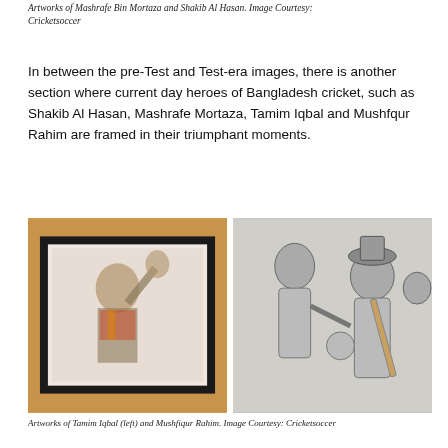Artworks of Mashrafe Bin Mortaza and Shakib Al Hasan. Image Courtesy: Cricketsoccer
In between the pre-Test and Test-era images, there is another section where current day heroes of Bangladesh cricket, such as Shakib Al Hasan, Mashrafe Mortaza, Tamim Iqbal and Mushfqur Rahim are framed in their triumphant moments.
[Figure (photo): Two cricket artwork photographs side by side. Left: a framed colorful artwork of a cricket player (Tamim Iqbal) displayed on an orange/yellow background. Right: a pencil sketch artwork showing Mushfiqur Rahim and other cricket players.]
Artworks of Tamim Iqbal (left) and Mushfiqur Rahim. Image Courtesy: Cricketsoccer